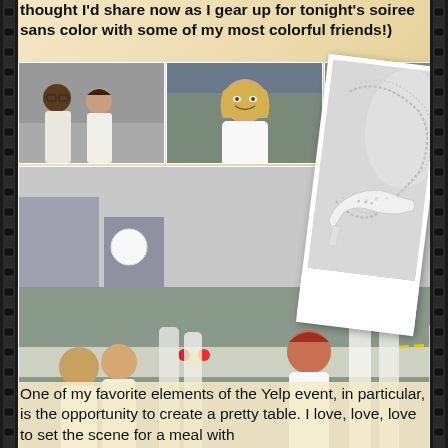thought I'd share now as I gear up for tonight's soiree sans color with some of my most colorful friends!)
[Figure (photo): Collage of photos from a Diner en Blanc / all-white outdoor event, showing multiple groups of people dressed in white at a large outdoor dining gathering with tables, flowers, and balloons. Includes a decorative polaroid-style image of bejeweled white high heel shoes.]
One of my favorite elements of the Yelp event, in particular, is the opportunity to create a pretty table. I love, love, love to set the scene for a meal with